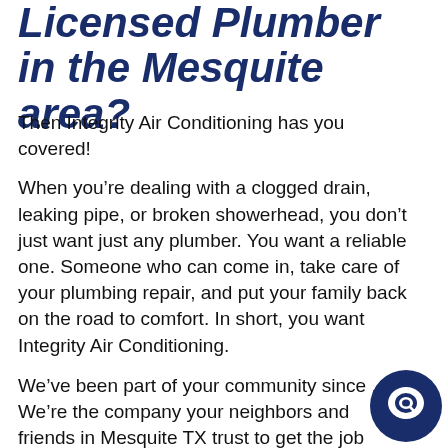Licensed Plumber in the Mesquite area?
Then Integrity Air Conditioning has you covered!
When you're dealing with a clogged drain, leaking pipe, or broken showerhead, you don't just want just any plumber. You want a reliable one. Someone who can come in, take care of your plumbing repair, and put your family back on the road to comfort. In short, you want Integrity Air Conditioning.
We've been part of your community since . We're the company your neighbors and friends in Mesquite TX trust to get the job done. Since our kids play on your little league teams, we've got a vested interest in your community. To us, you're not just a customer; you're family. And, at Integrity Air Conditioning we treat our family with
[Figure (illustration): Dark navy circular chat/message icon with a white Q-shaped speech bubble symbol, positioned in the bottom-right corner]